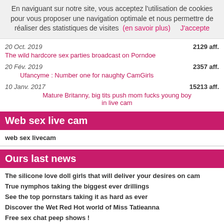En naviguant sur notre site, vous acceptez l'utilisation de cookies pour vous proposer une navigation optimale et nous permettre de réaliser des statistiques de visites  (en savoir plus)    J'accepte
20 Oct. 2019    2129 aff.
The wild hardcore sex parties broadcast on Porndoe
20 Fév. 2019    2357 aff.
Ufancyme : Number one for naughty CamGirls
10 Janv. 2017    15213 aff.
Mature Britanny, big tits push mom fucks young boy in live cam
Web sex live cam
web sex livecam
Ours last news
The silicone love doll girls that will deliver your desires on cam
True nymphos taking the biggest ever drillings
See the top pornstars taking it as hard as ever
Discover the Wet Red Hot world of Miss Tatieanna
Free sex chat peep shows !